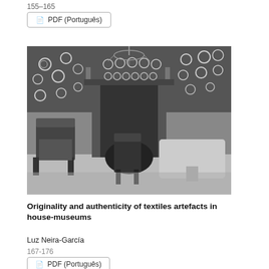155-165
PDF (Português)
[Figure (photo): Black and white photograph of a historic room interior with chairs, a fireplace, and decorative plates mounted on the walls and above the mantelpiece.]
Originality and authenticity of textiles artefacts in house-museums
Luz Neira-García
167-176
PDF (Português)